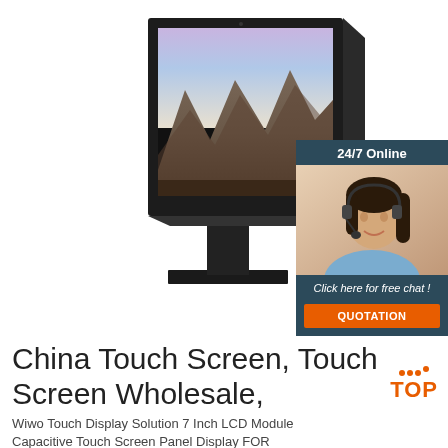[Figure (photo): A black touch screen kiosk with a mountain landscape displayed on the screen, positioned on a pedestal stand, on white background.]
[Figure (infographic): Chat widget showing '24/7 Online' header, a customer service representative with headset smiling, 'Click here for free chat!' message, and an orange 'QUOTATION' button.]
China Touch Screen, Touch Screen Wholesale,
[Figure (logo): TOP logo with orange dots above and 'TOP' text in orange]
Wiwo Touch Display Solution 7 Inch LCD Module Capacitive Touch Screen Panel Display FOR